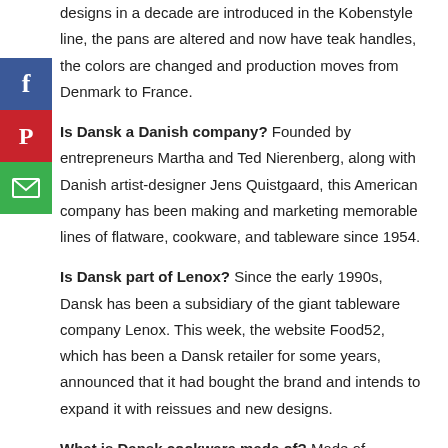designs in a decade are introduced in the Kobenstyle line, the pans are altered and now have teak handles, the colors are changed and production moves from Denmark to France.
Is Dansk a Danish company? Founded by entrepreneurs Martha and Ted Nierenberg, along with Danish artist-designer Jens Quistgaard, this American company has been making and marketing memorable lines of flatware, cookware, and tableware since 1954.
Is Dansk part of Lenox? Since the early 1990s, Dansk has been a subsidiary of the giant tableware company Lenox. This week, the website Food52, which has been a Dansk retailer for some years, announced that it had bought the brand and intends to expand it with reissues and new designs.
What is Dansk cookware made of? Made of enameled formed sheet steel, Dansk Kobenstyle is lighter weight than enameled cast iron cookware such as Le Creuset. On the upside, it's easier to